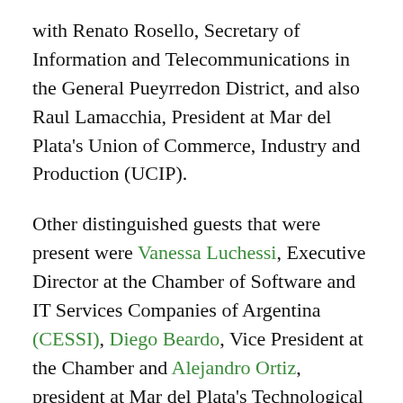with Renato Rosello, Secretary of Information and Telecommunications in the General Pueyrredon District, and also Raul Lamacchia, President at Mar del Plata's Union of Commerce, Industry and Production (UCIP).
Other distinguished guests that were present were Vanessa Luchessi, Executive Director at the Chamber of Software and IT Services Companies of Argentina (CESSI), Diego Beardo, Vice President at the Chamber and Alejandro Ortiz, president at Mar del Plata's Technological Association of Information and Communication (ATICMA).
Mar del Plata's Mayor commented "I am certain that in a few years Mar del Plata will become the capital of Software Development here in Argentina."